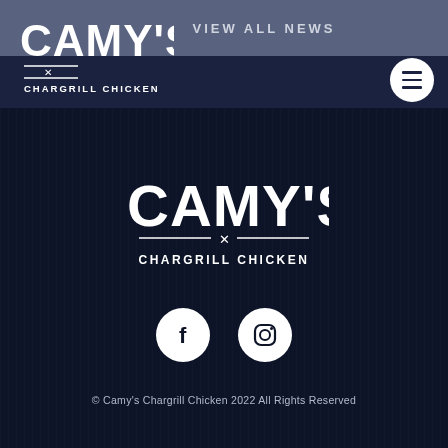[Figure (logo): Camy's Chargrill Chicken logo in header (white text on dark navy background), top-left]
VIEW ALL NEWS
[Figure (illustration): Hamburger/menu icon (three horizontal lines) in white circle, top-right]
[Figure (logo): Camy's Chargrill Chicken logo centered on dark textured background]
[Figure (illustration): Facebook and Instagram social media icons (white circles with dark symbols)]
© Camy's Chargrill Chicken 2022 All Rights Reserved